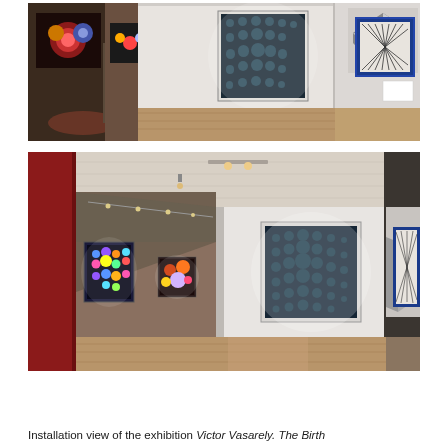[Figure (photo): Installation view of an art gallery showing Op Art paintings by Victor Vasarely mounted on white walls. The panoramic top photo shows geometric black-and-white and colorful artworks hung on white gallery walls with warm wooden flooring.]
[Figure (photo): Installation view of the same gallery from a wider angle, showing a red wall on the left side, multiple Vasarely artworks visible including geometric and optical illusion pieces, with track lighting on the ceiling and wooden floors.]
Installation view of the exhibition Victor Vasarely. The Birth